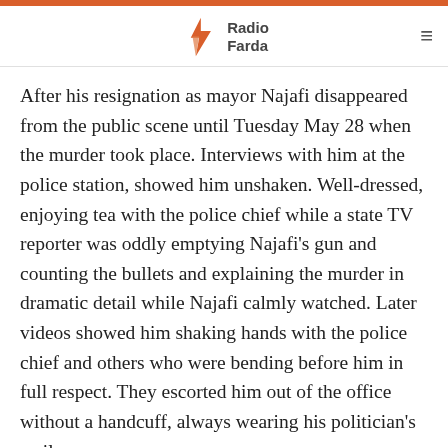Radio Farda
After his resignation as mayor Najafi disappeared from the public scene until Tuesday May 28 when the murder took place. Interviews with him at the police station, showed him unshaken. Well-dressed, enjoying tea with the police chief while a state TV reporter was oddly emptying Najafi's gun and counting the bullets and explaining the murder in dramatic detail while Najafi calmly watched. Later videos showed him shaking hands with the police chief and others who were bending before him in full respect. They escorted him out of the office without a handcuff, always wearing his politician's smile.
Newsletter | رادیو فردا | 🔍